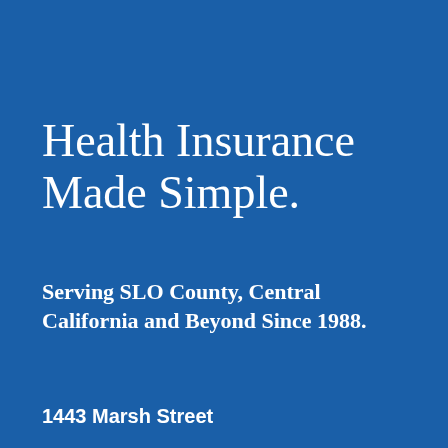Health Insurance Made Simple.
Serving SLO County, Central California and Beyond Since 1988.
CONTACT US
1443 Marsh Street